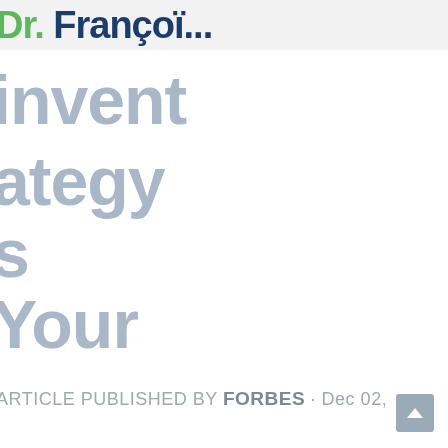Dr. François...
invent
ategy
s
Your
ARTICLE PUBLISHED BY FORBES · Dec 02,